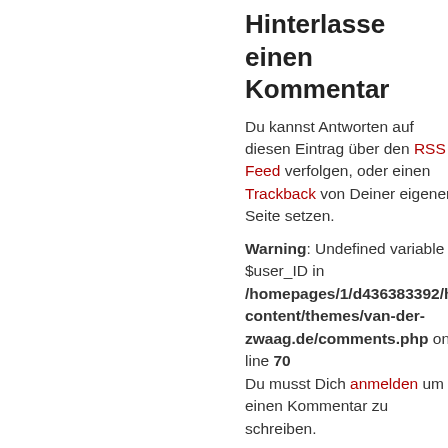Hinterlasse einen Kommentar
Du kannst Antworten auf diesen Eintrag über den RSS Feed verfolgen, oder einen Trackback von Deiner eigenen Seite setzen.
Warning: Undefined variable $user_ID in /homepages/1/d436383392/htdocs/wp-content/themes/van-der-zwaag.de/comments.php on line 70 Du musst Dich anmelden um einen Kommentar zu schreiben.